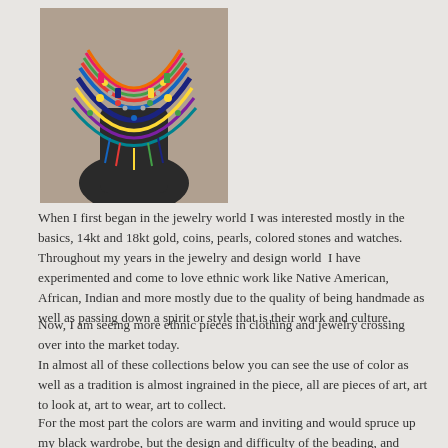[Figure (photo): Colorful beaded ethnic necklace/scarf with multiple strands of beads in blue, red, yellow, green, and other colors worn on a mannequin bust against a light background.]
When I first began in the jewelry world I was interested mostly in the basics, 14kt and 18kt gold, coins, pearls, colored stones and watches.  Throughout my years in the jewelry and design world  I have experimented and come to love ethnic work like Native American, African, Indian and more mostly due to the quality of being handmade as well as passing down a spirit or style that is their work and culture.
Now, I am seeing more ethnic pieces in clothing and jewelry crossing over into the market today.
In almost all of these collections below you can see the use of color as well as a tradition is almost ingrained in the piece, all are pieces of art, art to look at, art to wear, art to collect.
For the most part the colors are warm and inviting and would spruce up my black wardrobe, but the design and difficulty of the beading, and jewelry making